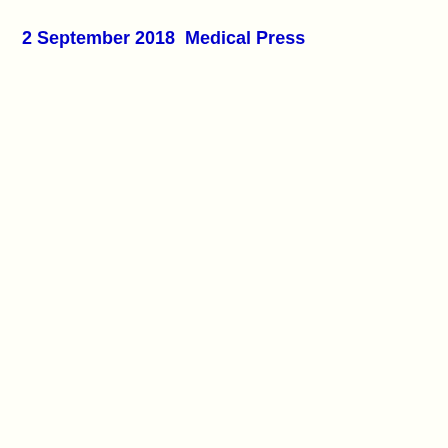2 September 2018  Medical Press